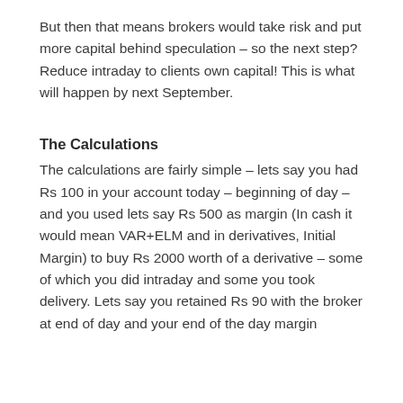But then that means brokers would take risk and put more capital behind speculation – so the next step? Reduce intraday to clients own capital! This is what will happen by next September.
The Calculations
The calculations are fairly simple – lets say you had Rs 100 in your account today – beginning of day – and you used lets say Rs 500 as margin (In cash it would mean VAR+ELM and in derivatives, Initial Margin) to buy Rs 2000 worth of a derivative – some of which you did intraday and some you took delivery. Lets say you retained Rs 90 with the broker at end of day and your end of the day margin obligation for this derivative is Rs 80.